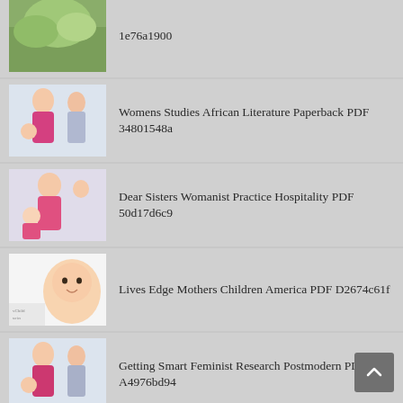1e76a1900
Womens Studies African Literature Paperback PDF 34801548a
Dear Sisters Womanist Practice Hospitality PDF 50d17d6c9
Lives Edge Mothers Children America PDF D2674c61f
Getting Smart Feminist Research Postmodern PDF A4976bd94
Facing Challenges Feminism Christian Education PDF 6113f62d8
Professing Feminism Cautionary Strange Studies PDF Bf98490e1